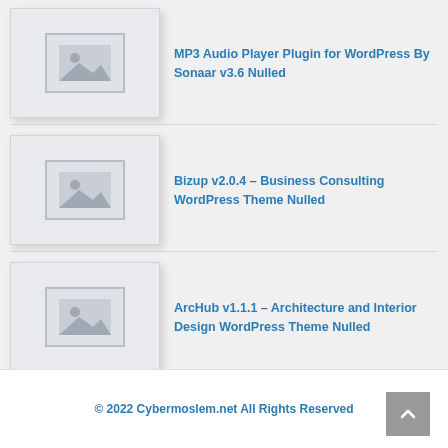MP3 Audio Player Plugin for WordPress By Sonaar v3.6 Nulled
Bizup v2.0.4 – Business Consulting WordPress Theme Nulled
ArcHub v1.1.1 – Architecture and Interior Design WordPress Theme Nulled
© 2022 Cybermoslem.net All Rights Reserved